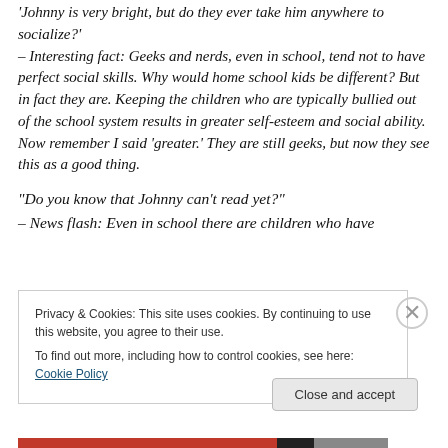“Johnny is very bright, but do they ever take him anywhere to socialize?” – Interesting fact: Geeks and nerds, even in school, tend not to have perfect social skills. Why would home school kids be different? But in fact they are. Keeping the children who are typically bullied out of the school system results in greater self-esteem and social ability. Now remember I said ‘greater.’ They are still geeks, but now they see this as a good thing.
“Do you know that Johnny can’t read yet?”
– News flash: Even in school there are children who have
Privacy & Cookies: This site uses cookies. By continuing to use this website, you agree to their use. To find out more, including how to control cookies, see here: Cookie Policy